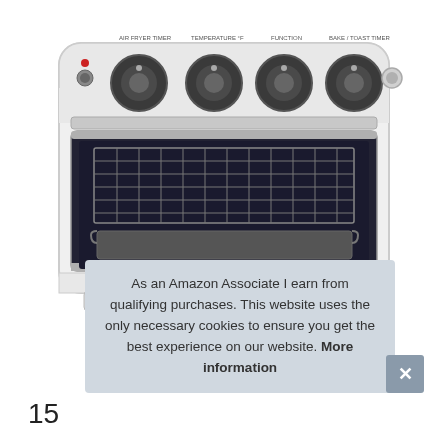[Figure (photo): White Cuisinart toaster oven / air fryer with four control knobs on top and a wire rack basket visible inside through the glass door, shown on a white background.]
As an Amazon Associate I earn from qualifying purchases. This website uses the only necessary cookies to ensure you get the best experience on our website. More information
15